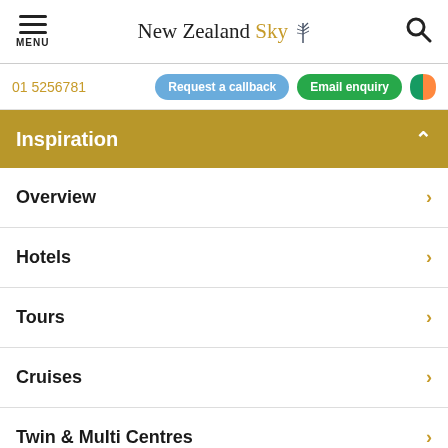MENU | New Zealand Sky | Search
01 5256781
Request a callback
Email enquiry
Inspiration
Overview
Hotels
Tours
Cruises
Twin & Multi Centres
[Figure (photo): Partial view of a person outdoors, greenery visible in background]